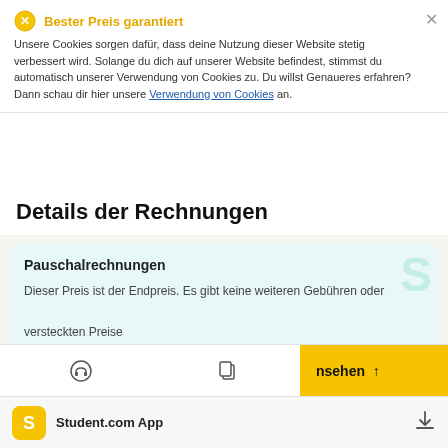Bester Preis garantiert
Unsere Cookies sorgen dafür, dass deine Nutzung dieser Website stetig verbessert wird. Solange du dich auf unserer Website befindest, stimmst du automatisch unserer Verwendung von Cookies zu. Du willst Genaueres erfahren? Dann schau dir hier unsere Verwendung von Cookies an.
Details der Rechnungen
Pauschalrechnungen
Dieser Preis ist der Endpreis. Es gibt keine weiteren Gebühren oder versteckten Preise
Wifi
Wasser
nsehen ↑
Student.com App